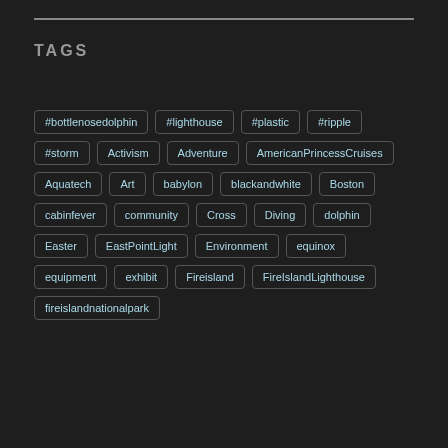TAGS
#bottlenosedolphin
#lighthouse
#plastic
#ripple
#storm
Activism
Adventure
AmericanPrincessCruises
Aquatech
Art
babylon
blackandwhite
Boston
cabinfever
community
Cross
Diving
dolphin
Easter
EastPointLight
Environment
equinox
equipment
exhibit
Fireisland
FireIslandLighthouse
fireislandnationalpark